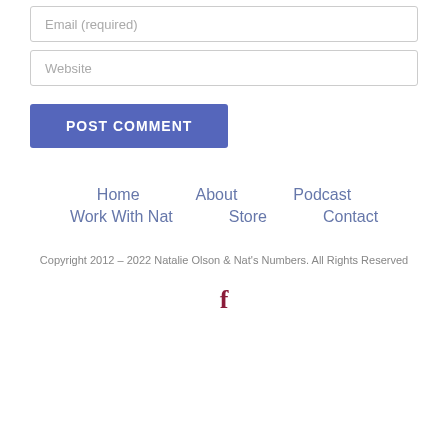Email (required)
Website
POST COMMENT
Home
About
Podcast
Work With Nat
Store
Contact
Copyright 2012 - 2022 Natalie Olson & Nat's Numbers. All Rights Reserved
[Figure (logo): Facebook icon in dark red/maroon color]